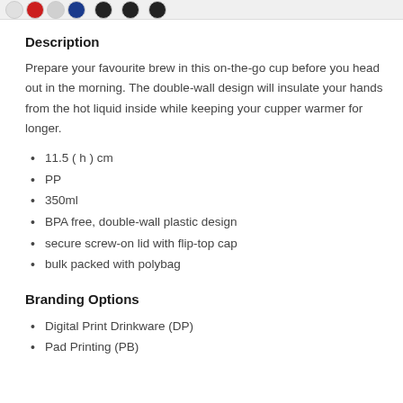[Figure (other): Row of product color swatches at top of page]
Description
Prepare your favourite brew in this on-the-go cup before you head out in the morning. The double-wall design will insulate your hands from the hot liquid inside while keeping your cupper warmer for longer.
11.5 ( h ) cm
PP
350ml
BPA free, double-wall plastic design
secure screw-on lid with flip-top cap
bulk packed with polybag
Branding Options
Digital Print Drinkware (DP)
Pad Printing (PB)